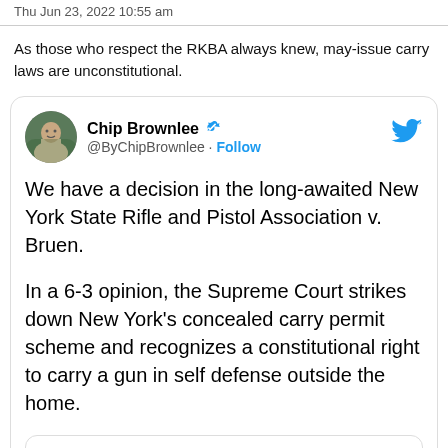Thu Jun 23, 2022 10:55 am
As those who respect the RKBA always knew, may-issue carry laws are unconstitutional.
[Figure (screenshot): Embedded tweet by Chip Brownlee (@ByChipBrownlee) with text: 'We have a decision in the long-awaited New York State Rifle and Pistol Association v. Bruen. In a 6-3 opinion, the Supreme Court strikes down New York's concealed carry permit scheme and recognizes a constitutional right to carry a gun in self defense outside the home.']